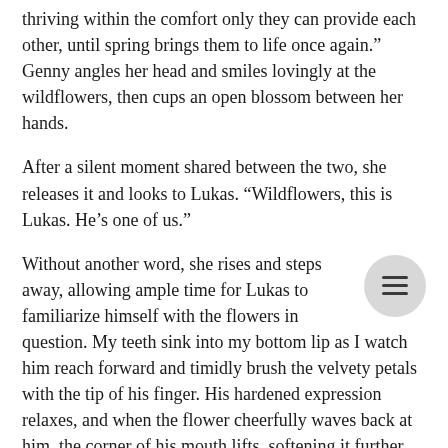thriving within the comfort only they can provide each other, until spring brings them to life once again.” Genny angles her head and smiles lovingly at the wildflowers, then cups an open blossom between her hands.
After a silent moment shared between the two, she releases it and looks to Lukas. “Wildflowers, this is Lukas. He’s one of us.”
Without another word, she rises and steps away, allowing ample time for Lukas to familiarize himself with the flowers in question. My teeth sink into my bottom lip as I watch him reach forward and timidly brush the velvety petals with the tip of his finger. His hardened expression relaxes, and when the flower cheerfully waves back at him, the corner of his mouth lifts, softening it further.
God, he’s beautiful.
I take a quick sharp breath, to make sure I can still breathe.